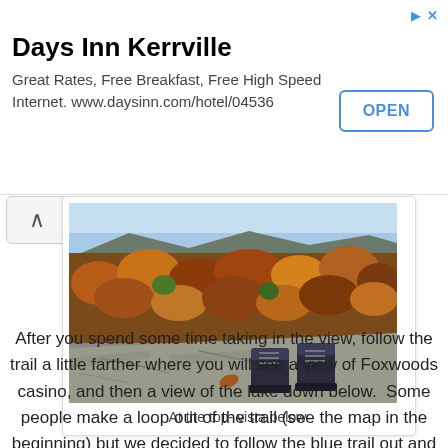[Figure (infographic): Advertisement banner for Days Inn Kerrville with OPEN button. Title: Days Inn Kerrville. Description: Great Rates, Free Breakfast, Free High Speed Internet. www.daysinn.com/hotel/04536]
[Figure (photo): Aerial view of autumn forest with red, orange, and brown trees on a hillside. In the foreground, a person's hiking boots are visible resting on a rock outcrop looking out over the valley.]
At the top- vista below.
After you spend some time taking in the view, follow the trail a little farther where you will see a view of Foxwoods casino, and then a view of the lake down below.  Some people make a loop out of the trail (see the map in the beginning) but we decided to follow the blue trail out and back.